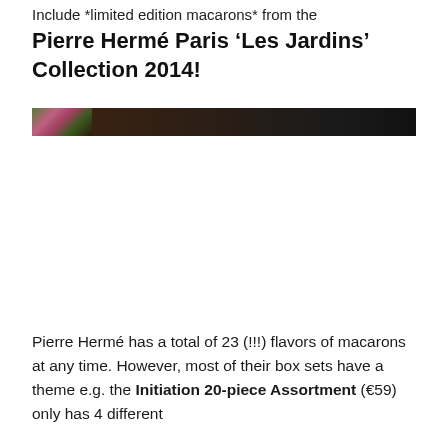Include *limited edition macarons* from the
Pierre Hermé Paris 'Les Jardins' Collection 2014!
[Figure (photo): A narrow cropped photograph showing colorful macarons and green plant elements against a dark background.]
Pierre Hermé has a total of 23 (!!!) flavors of macarons at any time. However, most of their box sets have a theme e.g. the Initiation 20-piece Assortment (€59) only has 4 different